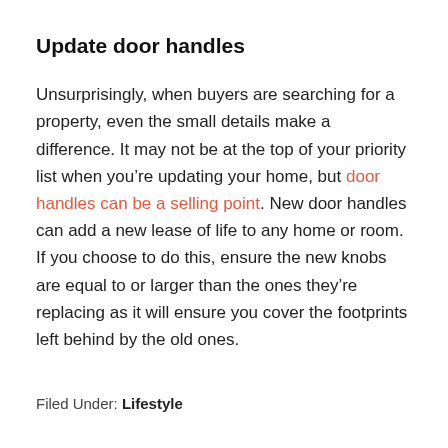Update door handles
Unsurprisingly, when buyers are searching for a property, even the small details make a difference. It may not be at the top of your priority list when you’re updating your home, but door handles can be a selling point. New door handles can add a new lease of life to any home or room. If you choose to do this, ensure the new knobs are equal to or larger than the ones they’re replacing as it will ensure you cover the footprints left behind by the old ones.
Filed Under: Lifestyle